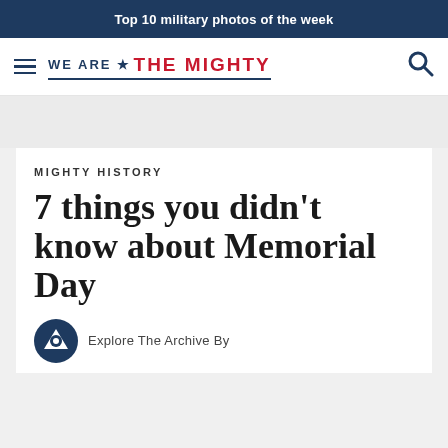Top 10 military photos of the week
[Figure (logo): We Are The Mighty logo with hamburger menu and search icon]
MIGHTY HISTORY
7 things you didn't know about Memorial Day
Explore The Archive By